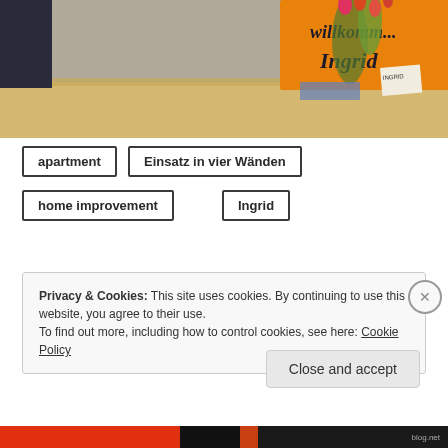[Figure (photo): Photo of a welcome sign on an orange background reading 'willkomm... Ingrid' with tulips in a vase on a wooden table]
apartment
Einsatz in vier Wänden
home improvement
Ingrid
Privacy & Cookies: This site uses cookies. By continuing to use this website, you agree to their use.
To find out more, including how to control cookies, see here: Cookie Policy
Close and accept